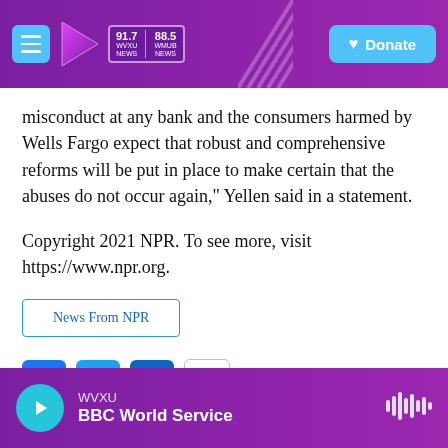WVXU 91.7 NEWS | WMUB 88.5 NEWS | Donate
misconduct at any bank and the consumers harmed by Wells Fargo expect that robust and comprehensive reforms will be put in place to make certain that the abuses do not occur again," Yellen said in a statement.
Copyright 2021 NPR. To see more, visit https://www.npr.org.
News From NPR
[Figure (other): Social sharing icons: Facebook, Twitter, LinkedIn, Email]
WVXU BBC World Service